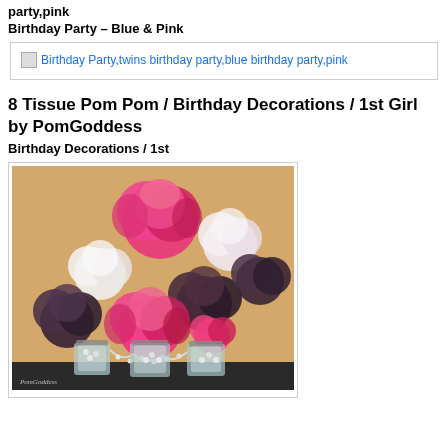party,pink
Birthday Party – Blue & Pink
[Figure (screenshot): Broken image placeholder showing alt text link: Birthday Party,twins birthday party,blue birthday party,pink]
8 Tissue Pom Pom / Birthday Decorations / 1st Girl by PomGoddess
Birthday Decorations / 1st
[Figure (photo): Photo of 8 tissue pom poms hanging on a wall in pink, white, and dark purple/black colors. Three mason jars with pearl necklaces are on a dark shelf below. Watermark reads PomGoddess in bottom left.]